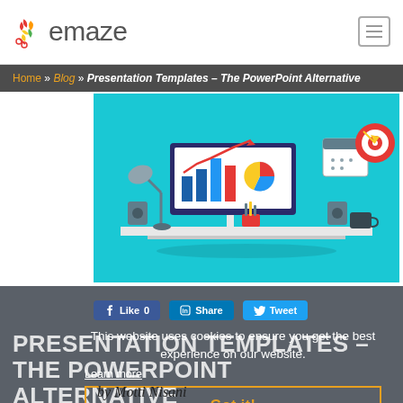emaze
Home » Blog » Presentation Templates – The PowerPoint Alternative
[Figure (illustration): Flat design illustration of a desk workspace with a monitor showing bar charts and a pie chart, a desk lamp, speakers, pencil holder, calendar icon, and target/bullseye icon. Teal/cyan background.]
[Figure (screenshot): Website screenshot section showing social share buttons (Like 0, Share, Tweet), a cookie consent overlay reading 'This website uses cookies to ensure you get the best experience on our website. Learn more' with a 'Got it!' button, and the article title 'PRESENTATION TEMPLATES – THE POWERPOINT ALTERNATIVE' in large white uppercase text on dark grey background.]
PRESENTATION TEMPLATES – THE POWERPOINT ALTERNATIVE
This website uses cookies to ensure you get the best experience on our website.
Learn more
Got it!
by Motti Nisani